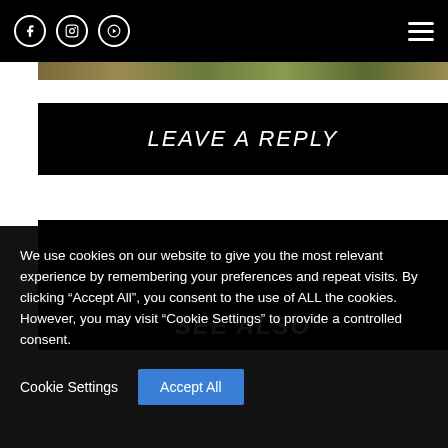Social media icons and hamburger menu
[Figure (photo): Nature/camouflage image strip at top]
LEAVE A REPLY
SEE ALSO
We use cookies on our website to give you the most relevant experience by remembering your preferences and repeat visits. By clicking “Accept All”, you consent to the use of ALL the cookies. However, you may visit "Cookie Settings" to provide a controlled consent.
Cookie Settings   Accept All